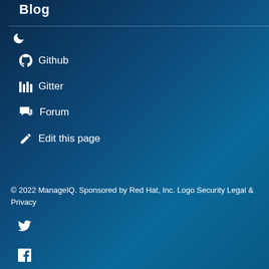Blog
Github
Gitter
Forum
Edit this page
© 2022 ManageIQ. Sponsored by Red Hat, Inc. Logo Security Legal & Privacy
[Figure (other): Social media icons: Twitter, Facebook, LinkedIn, YouTube]